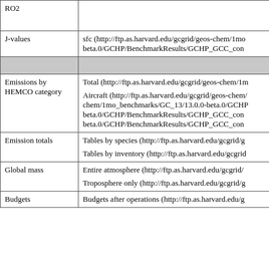| Category | Links |
| --- | --- |
| RO2 |  |
| J-values | sfc (http://ftp.as.harvard.edu/gcgrid/geos-chem/1mo...beta.0/GCHP/BenchmarkResults/GCHP_GCC_con... |
| (gray separator) |  |
| Emissions by HEMCO category | Total (http://ftp.as.harvard.edu/gcgrid/geos-chem/1m...

Aircraft (http://ftp.as.harvard.edu/gcgrid/geos-chem/1mo_benchmarks/GC_13/13.0.0-beta.0/GCHP...beta.0/GCHP/BenchmarkResults/GCHP_GCC_con...beta.0/GCHP/BenchmarkResults/GCHP_GCC_con... |
| Emission totals | Tables by species (http://ftp.as.harvard.edu/gcgrid/g...

Tables by inventory (http://ftp.as.harvard.edu/gcgri... |
| Global mass | Entire atmosphere (http://ftp.as.harvard.edu/gcgrid/...

Troposphere only (http://ftp.as.harvard.edu/gcgrid/g... |
| Budgets | Budgets after operations (http://ftp.as.harvard.edu/g... |